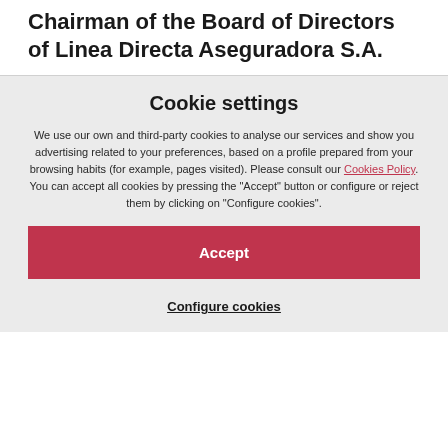Chairman of the Board of Directors of Linea Directa Aseguradora S.A.
Cookie settings
We use our own and third-party cookies to analyse our services and show you advertising related to your preferences, based on a profile prepared from your browsing habits (for example, pages visited). Please consult our Cookies Policy. You can accept all cookies by pressing the "Accept" button or configure or reject them by clicking on "Configure cookies".
Accept
Configure cookies